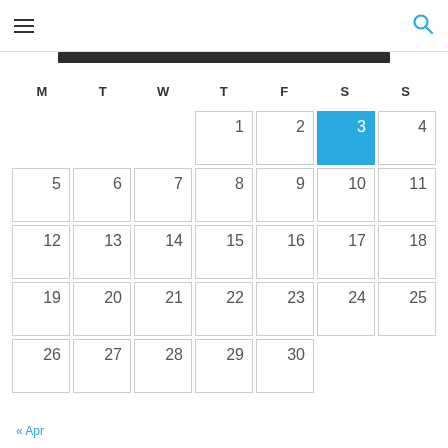hamburger menu | search icon
[Figure (other): Dark navigation/image bar below header]
| M | T | W | T | F | S | S |
| --- | --- | --- | --- | --- | --- | --- |
|  |  |  | 1 | 2 | 3 | 4 |
| 5 | 6 | 7 | 8 | 9 | 10 | 11 |
| 12 | 13 | 14 | 15 | 16 | 17 | 18 |
| 19 | 20 | 21 | 22 | 23 | 24 | 25 |
| 26 | 27 | 28 | 29 | 30 |  |  |
« Apr